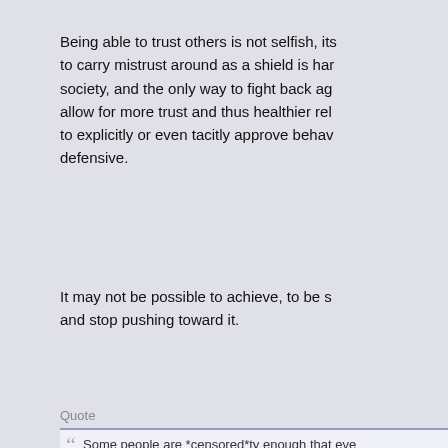Being able to trust others is not selfish, its to carry mistrust around as a shield is har society, and the only way to fight back ag allow for more trust and thus healthier rel to explicitly or even tacitly approve behav defensive.
It may not be possible to achieve, to be s and stop pushing toward it.
Quote
Some people are *censored*ty enough that eve Intentionally choosing to disadvantage yourself a then blaming the world for not protecting you is p
Sure. But that's not what's happening her misconduct does harm to others and tryin engaging in it, so that they have more po clearly isolate those taht mean to do har we got to the point where the response to apology and an earnest attempt to under future, instead of justifying it as normal b suck it up, we've be on much better gro quickly. IT's only when we keep telling th or that they're the ones trying to hurt peo